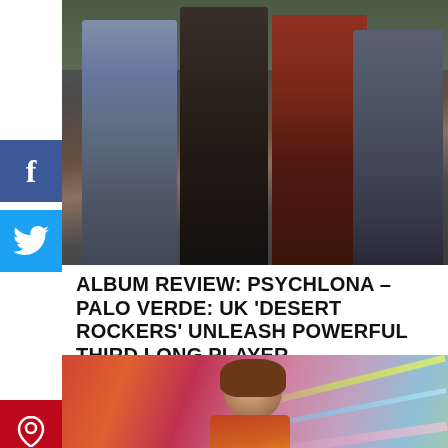[Figure (photo): Band photo showing four people standing in front of a dark wall or doorway, wearing jackets]
ALBUM REVIEW: PSYCHLONA – PALO VERDE: UK 'DESERT ROCKERS' UNLEASH POWERFUL THIRD LONG PLAYER
[Figure (photo): Colorful promotional photo of a performer with brown hair wearing a multicolored outfit, with laser light streaks in the background]
infolinks
Frontgate: Outdoor Furniture | Bedding
25% off site wide sale going on now at Frontgate.com
frontgate.com